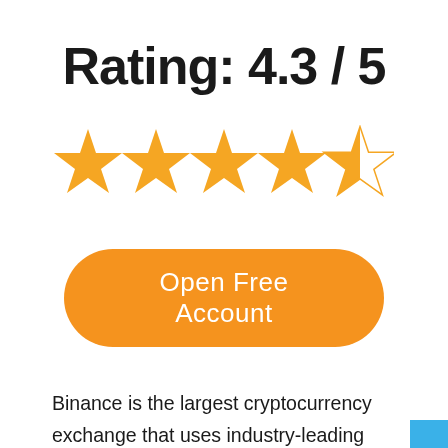Rating: 4.3 / 5
[Figure (infographic): 5-star rating display showing 4 full golden stars and 1 half golden star, representing a rating of 4.3 out of 5]
Open Free Account
Binance is the largest cryptocurrency exchange that uses industry-leading safety protocols. It is a top choice for intermediate and experienced traders who need access to a great selection of coins. High